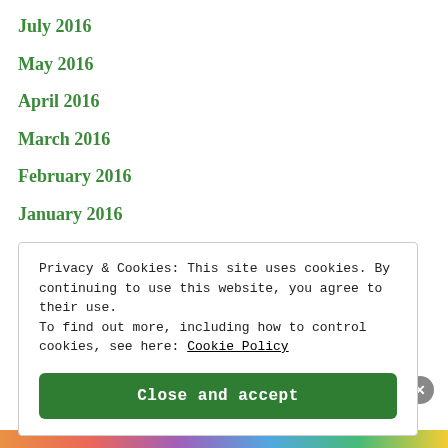July 2016
May 2016
April 2016
March 2016
February 2016
January 2016
Privacy & Cookies: This site uses cookies. By continuing to use this website, you agree to their use. To find out more, including how to control cookies, see here: Cookie Policy
Close and accept